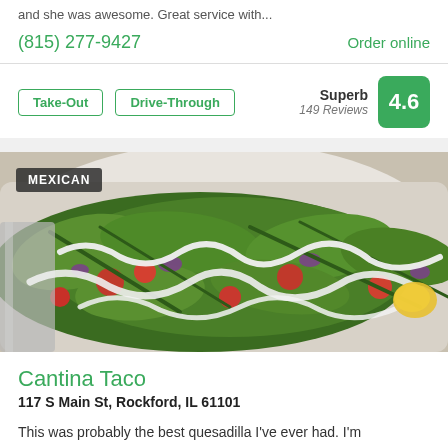and she was awesome. Great service with...
(815) 277-9427
Order online
Take-Out
Drive-Through
Superb 149 Reviews 4.6
[Figure (photo): Close-up photo of Mexican food in a white takeout container with lettuce, tomato, red onion, green onion, and white sauce drizzled on top. A MEXICAN label tag appears in the top-left corner.]
Cantina Taco
117 S Main St, Rockford, IL 61101
This was probably the best quesadilla I've ever had. I'm